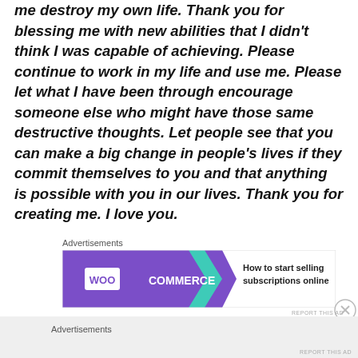me destroy my own life. Thank you for blessing me with new abilities that I didn't think I was capable of achieving. Please continue to work in my life and use me. Please let what I have been through encourage someone else who might have those same destructive thoughts. Let people see that you can make a big change in people's lives if they commit themselves to you and that anything is possible with you in our lives. Thank you for creating me. I love you.
Advertisements
[Figure (illustration): WooCommerce advertisement banner: purple background with WooCommerce logo on left, teal arrow shape, text 'How to start selling subscriptions online' on right with orange and blue decorative blobs]
REPORT THIS AD
Advertisements